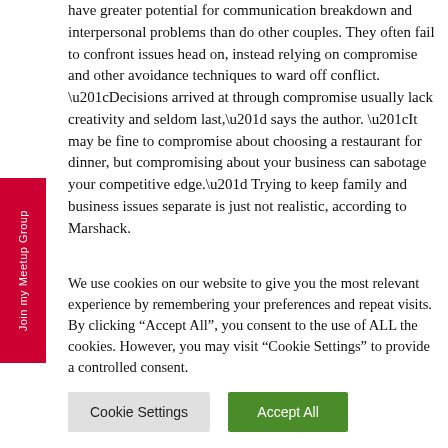have greater potential for communication breakdown and interpersonal problems than do other couples. They often fail to confront issues head on, instead relying on compromise and other avoidance techniques to ward off conflict. “Decisions arrived at through compromise usually lack creativity and seldom last,” says the author. “It may be fine to compromise about choosing a restaurant for dinner, but compromising about your business can sabotage your competitive edge.” Trying to keep family and business issues separate is just not realistic, according to Marshack.
We use cookies on our website to give you the most relevant experience by remembering your preferences and repeat visits. By clicking “Accept All”, you consent to the use of ALL the cookies. However, you may visit “Cookie Settings” to provide a controlled consent.